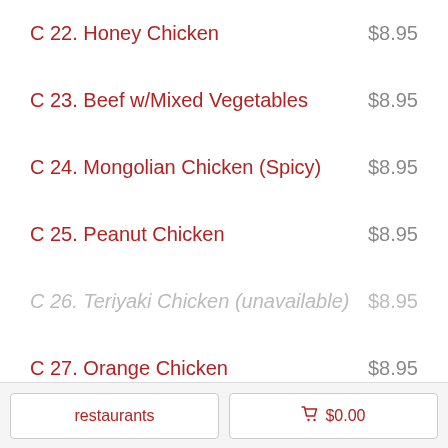C 22. Honey Chicken  $8.95
C 23. Beef w/Mixed Vegetables  $8.95
C 24. Mongolian Chicken (Spicy)  $8.95
C 25. Peanut Chicken  $8.95
C 26. Teriyaki Chicken (unavailable)  $8.95
C 27. Orange Chicken  $8.95
restaurants   🛒 $0.00